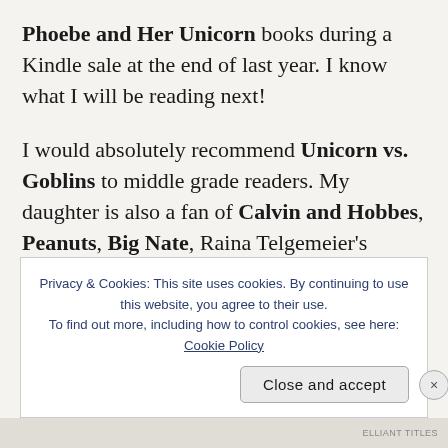Phoebe and Her Unicorn books during a Kindle sale at the end of last year. I know what I will be reading next!
I would absolutely recommend Unicorn vs. Goblins to middle grade readers. My daughter is also a fan of Calvin and Hobbes, Peanuts, Big Nate, Raina Telgemeier's graphic novels, Hereville, and Wimpy Kid, so I would imagine that there would b... r... n...
Privacy & Cookies: This site uses cookies. By continuing to use this website, you agree to their use.
To find out more, including how to control cookies, see here: Cookie Policy
Close and accept